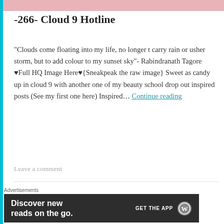[Figure (photo): Partial image strip at top of page showing pink/colorful imagery]
-266- Cloud 9 Hotline
"Clouds come floating into my life, no longer t carry rain or usher storm, but to add colour to my sunset sky"- Rabindranath Tagore ♥Full HQ Image Here♥{Sneakpeak the raw image} Sweet as candy up in cloud 9 with another one of my beauty school drop out inspired posts (See my first one here) Inspired... Continue reading
Leave a comment
[Figure (photo): Partial image strip at bottom showing figures]
Advertisements
[Figure (screenshot): Advertisement banner: Discover new reads on the go. GET THE APP with WordPress logo]